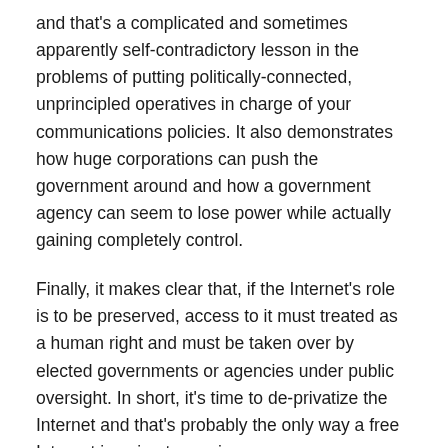and that's a complicated and sometimes apparently self-contradictory lesson in the problems of putting politically-connected, unprincipled operatives in charge of your communications policies. It also demonstrates how huge corporations can push the government around and how a government agency can seem to lose power while actually gaining completely control.
Finally, it makes clear that, if the Internet's role is to be preserved, access to it must treated as a human right and must be taken over by elected governments or agencies under public oversight. In short, it's time to de-privatize the Internet and that's probably the only way a free Internet is going to survive.
The focal point of last week's court ruling is a 2010 FCC decision that seems straightforward: high-speed Internet service is an information service that must...